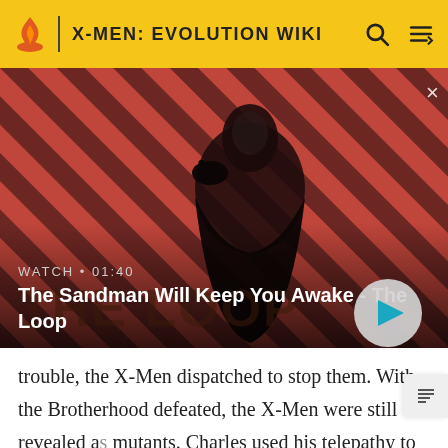X-MEN: EVOLUTION WIKI
[Figure (screenshot): Video thumbnail showing a dark-cloaked figure with a raven on shoulder against a red diagonal stripe background. Label reads WATCH • 01:40. Title: The Sandman Will Keep You Awake - The Loop. Play button visible bottom right.]
trouble, the X-Men dispatched to stop them. With the Brotherhood defeated, the X-Men were still revealed as mutants. Charles used his telepathy to erase the event from the minds of everyone in attendance to the soccer game gone wrong, but failed to erase the memory of